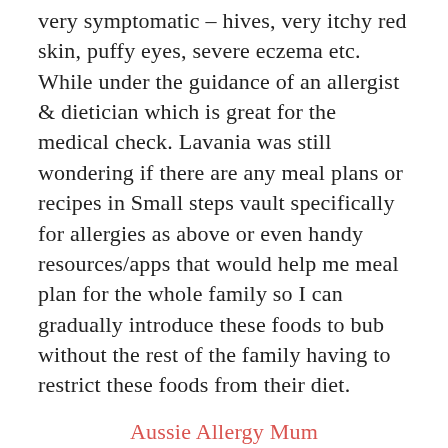very symptomatic – hives, very itchy red skin, puffy eyes, severe eczema etc. While under the guidance of an allergist & dietician which is great for the medical check. Lavania was still wondering if there are any meal plans or recipes in Small steps vault specifically for allergies as above or even handy resources/apps that would help me meal plan for the whole family so I can gradually introduce these foods to bub without the rest of the family having to restrict these foods from their diet.
Aussie Allergy Mum
27:29 Karoline asks Lisa about money and money stories with children: What are you saying to your kids (in the practical, day to day buying and paying) about money, abundance, choices with money etc? I want to you to get free for the kids to make...